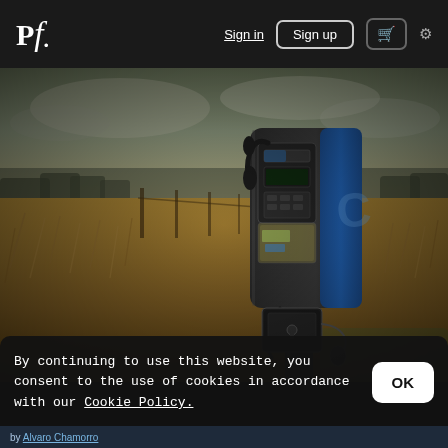Pf. | Sign in | Sign up | Cart | Settings
[Figure (photo): An abandoned pay phone standing in an open field with dry grass and a wooden fence line in the background, with HDR-style photography processing. The phone box is dark grey with blue panel, a handset dangling, and a metal coin box attached at the bottom.]
By continuing to use this website, you consent to the use of cookies in accordance with our Cookie Policy.
by Alvaro Chamorro